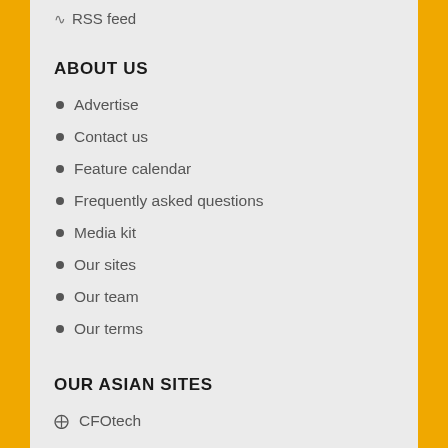RSS feed
ABOUT US
Advertise
Contact us
Feature calendar
Frequently asked questions
Media kit
Our sites
Our team
Our terms
OUR ASIAN SITES
CFOtech